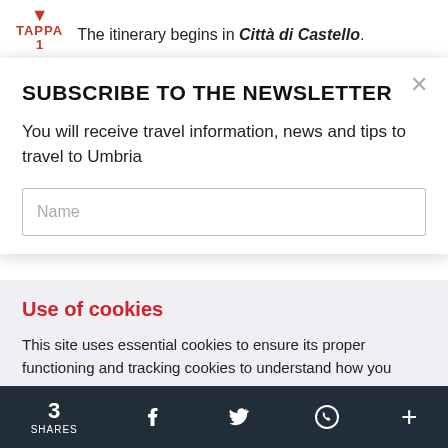[Figure (screenshot): Tappa 1 badge with red downward arrow icon and text 'The itinerary begins in Città di Castello.']
SUBSCRIBE TO THE NEWSLETTER
You will receive travel information, news and tips to travel to Umbria
Name (input field placeholder)
Use of cookies
This site uses essential cookies to ensure its proper functioning and tracking cookies to understand how you interact with it. You can disable tracking cookies by clicking on settings. Read
Accept all cookies
3 SHARES  [Facebook] [Twitter] [WhatsApp] [+]